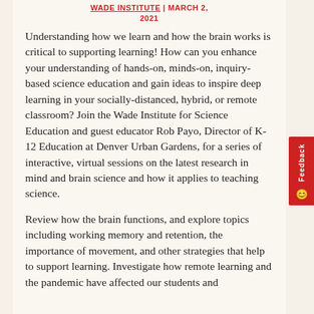WADE INSTITUTE | MARCH 2, 2021
Understanding how we learn and how the brain works is critical to supporting learning! How can you enhance your understanding of hands-on, minds-on, inquiry-based science education and gain ideas to inspire deep learning in your socially-distanced, hybrid, or remote classroom? Join the Wade Institute for Science Education and guest educator Rob Payo, Director of K-12 Education at Denver Urban Gardens, for a series of interactive, virtual sessions on the latest research in mind and brain science and how it applies to teaching science.
Review how the brain functions, and explore topics including working memory and retention, the importance of movement, and other strategies that help to support learning. Investigate how remote learning and the pandemic have affected our students and